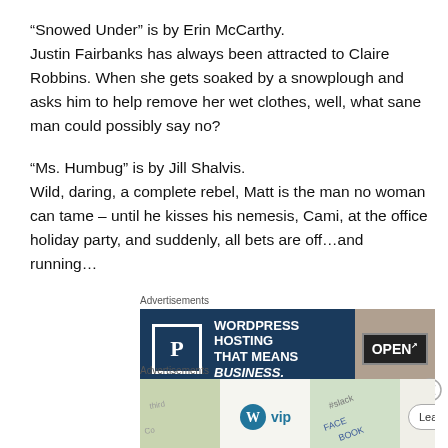“Snowed Under” is by Erin McCarthy.
Justin Fairbanks has always been attracted to Claire Robbins. When she gets soaked by a snowplough and asks him to help remove her wet clothes, well, what sane man could possibly say no?
“Ms. Humbug” is by Jill Shalvis.
Wild, daring, a complete rebel, Matt is the man no woman can tame – until he kisses his nemesis, Cami, at the office holiday party, and suddenly, all bets are off…and running…
[Figure (screenshot): WordPress Hosting advertisement banner with dark blue background, P icon, text 'WORDPRESS HOSTING THAT MEANS BUSINESS.' and an OPEN sign image]
[Figure (screenshot): WordPress VIP advertisement banner with colorful background showing social media logos and a 'Learn more' button]